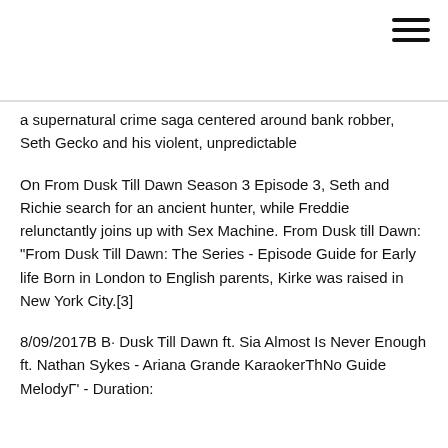[Figure (other): Hamburger menu icon (three horizontal lines) in top-right corner]
a supernatural crime saga centered around bank robber, Seth Gecko and his violent, unpredictable
On From Dusk Till Dawn Season 3 Episode 3, Seth and Richie search for an ancient hunter, while Freddie relunctantly joins up with Sex Machine. From Dusk till Dawn: "From Dusk Till Dawn: The Series - Episode Guide for Early life Born in London to English parents, Kirke was raised in New York City.[3]
8/09/2017В В· Dusk Till Dawn ft. Sia Almost Is Never Enough ft. Nathan Sykes - Ariana Grande KaraokerТhNo Guide MelodyГ' - Duration: